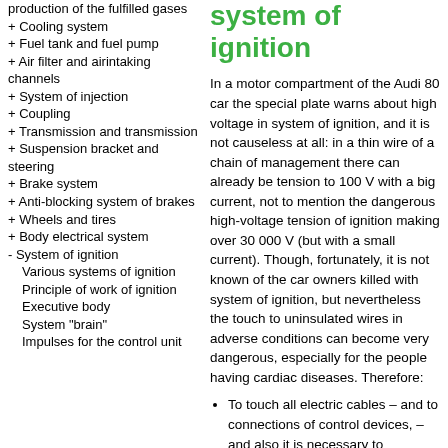production of the fulfilled gases
+ Cooling system
+ Fuel tank and fuel pump
+ Air filter and airintaking channels
+ System of injection
+ Coupling
+ Transmission and transmission
+ Suspension bracket and steering
+ Brake system
+ Anti-blocking system of brakes
+ Wheels and tires
+ Body electrical system
- System of ignition
Various systems of ignition
Principle of work of ignition
Executive body
System "brain"
Impulses for the control unit
system of ignition
In a motor compartment of the Audi 80 car the special plate warns about high voltage in system of ignition, and it is not causeless at all: in a thin wire of a chain of management there can already be tension to 100 V with a big current, not to mention the dangerous high-voltage tension of ignition making over 30 000 V (but with a small current). Though, fortunately, it is not known of the car owners killed with system of ignition, but nevertheless the touch to uninsulated wires in adverse conditions can become very dangerous, especially for the people having cardiac diseases. Therefore:
To touch all electric cables – and to connections of control devices, – and also it is necessary to disconnect or connect them only at the switched-off ignition.
It is necessary to disconnect the